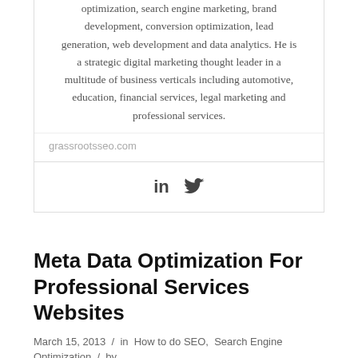optimization, search engine marketing, brand development, conversion optimization, lead generation, web development and data analytics. He is a strategic digital marketing thought leader in a multitude of business verticals including automotive, education, financial services, legal marketing and professional services.
grassrootsseo.com
[Figure (other): Social media icons: LinkedIn (in) and Twitter (bird icon)]
Meta Data Optimization For Professional Services Websites
March 15, 2013 / in How to do SEO, Search Engine Optimization / by Professor SEO
Generally professional legal service websites are heavily